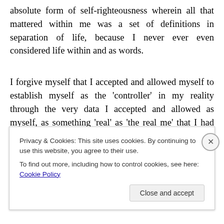absolute form of self-righteousness wherein all that mattered within me was a set of definitions in separation of life, because I never ever even considered life within and as words.
I forgive myself that I accepted and allowed myself to establish myself as the 'controller' in my reality through the very data I accepted and allowed as myself, as something 'real' as 'the real me' that I had constructed throughout time through everything I could grab from the media, from
Privacy & Cookies: This site uses cookies. By continuing to use this website, you agree to their use.
To find out more, including how to control cookies, see here: Cookie Policy